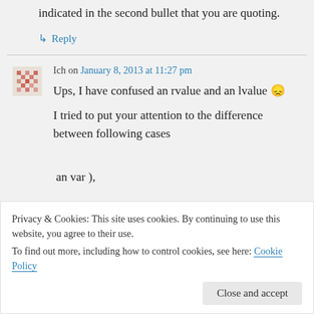indicated in the second bullet that you are quoting.
↳ Reply
Ich on January 8, 2013 at 11:27 pm
Ups, I have confused an rvalue and an lvalue 😞
I tried to put your attention to the difference between following cases
Privacy & Cookies: This site uses cookies. By continuing to use this website, you agree to their use.
To find out more, including how to control cookies, see here: Cookie Policy
Close and accept
an var ),